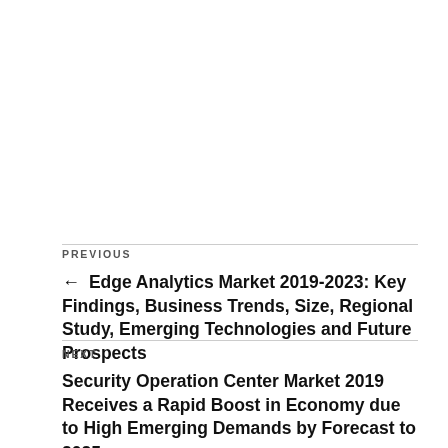PREVIOUS
← Edge Analytics Market 2019-2023: Key Findings, Business Trends, Size, Regional Study, Emerging Technologies and Future Prospects
NEXT
Security Operation Center Market 2019 Receives a Rapid Boost in Economy due to High Emerging Demands by Forecast to 2025 →